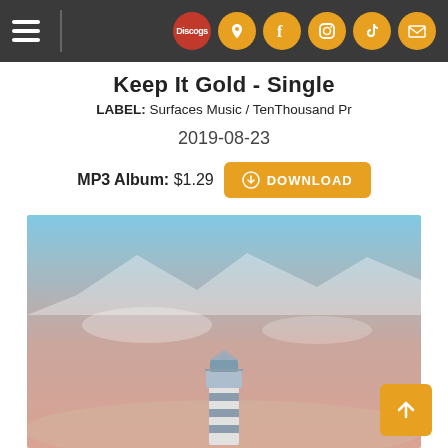Navigation bar with hamburger menu and social icons (Discogs, Facebook, Instagram, TikTok, Email)
Keep It Gold - Single
LABEL: Surfaces Music / TenThousand Pr
2019-08-23
MP3 Album: $1.29  DOWNLOAD
[Figure (illustration): Album artwork showing a pastel sunset landscape with mountains/clouds in the background, a lighthouse in the foreground, and a gradient sky fading from blue to peach/salmon.]